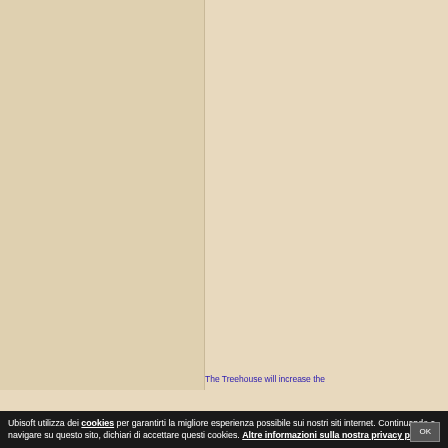[Figure (screenshot): Two-panel background with beige/tan color scheme. Left panel is a slightly darker tan, right panel is lighter beige. A vertical dividing line separates them.]
The Treehouse will increase the
Ubisoft utilizza dei cookies per garantirti la migliore esperienza possibile sui nostri siti internet. Continuando a navigare su questo sito, dichiari di accettare questi cookies. Altre informazioni sulla nostra privacy policy.